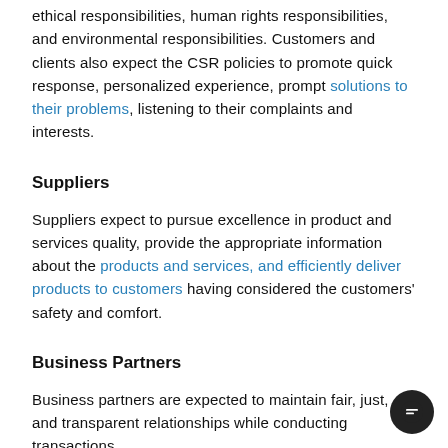ethical responsibilities, human rights responsibilities, and environmental responsibilities. Customers and clients also expect the CSR policies to promote quick response, personalized experience, prompt solutions to their problems, listening to their complaints and interests.
Suppliers
Suppliers expect to pursue excellence in product and services quality, provide the appropriate information about the products and services, and efficiently deliver products to customers having considered the customers' safety and comfort.
Business Partners
Business partners are expected to maintain fair, just, and transparent relationships while conducting transactions